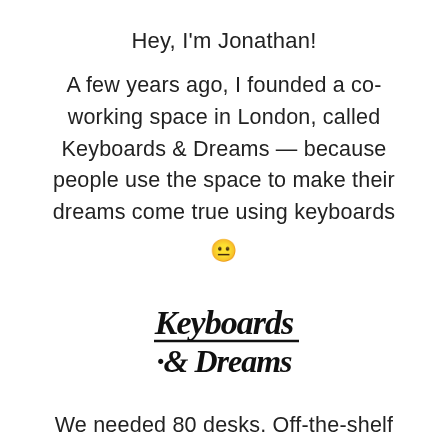Hey, I'm Jonathan!
A few years ago, I founded a co-working space in London, called Keyboards & Dreams — because people use the space to make their dreams come true using keyboards 🙂
[Figure (logo): Handwritten script logo reading 'Keyboards & Dreams' with a decorative underline]
We needed 80 desks. Off-the-shelf